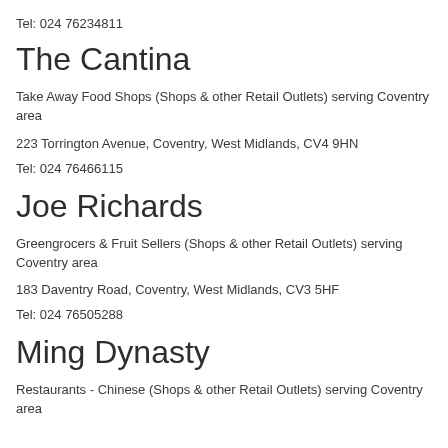Tel: 024 76234811
The Cantina
Take Away Food Shops (Shops & other Retail Outlets) serving Coventry area
223 Torrington Avenue, Coventry, West Midlands, CV4 9HN
Tel: 024 76466115
Joe Richards
Greengrocers & Fruit Sellers (Shops & other Retail Outlets) serving Coventry area
183 Daventry Road, Coventry, West Midlands, CV3 5HF
Tel: 024 76505288
Ming Dynasty
Restaurants - Chinese (Shops & other Retail Outlets) serving Coventry area